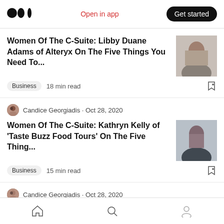Medium app header with logo, Open in app, Get started
Women Of The C-Suite: Libby Duane Adams of Alteryx On The Five Things You Need To...
Business · 18 min read
Candice Georgiadis · Oct 28, 2020
Women Of The C-Suite: Kathryn Kelly of 'Taste Buzz Food Tours' On The Five Thing...
Business · 15 min read
Candice Georgiadis · Oct 28, 2020
Women Of The C-Suite: Dr. Lan Huang of
Home | Search | Profile